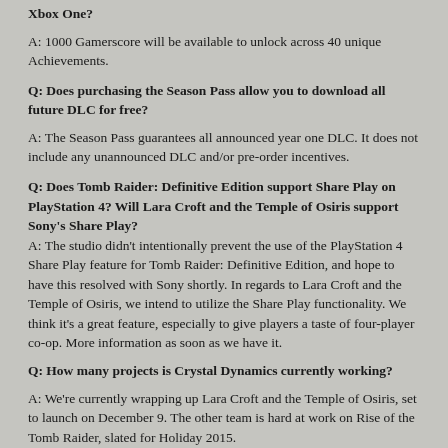Xbox One?
A: 1000 Gamerscore will be available to unlock across 40 unique Achievements.
Q: Does purchasing the Season Pass allow you to download all future DLC for free?
A: The Season Pass guarantees all announced year one DLC. It does not include any unannounced DLC and/or pre-order incentives.
Q: Does Tomb Raider: Definitive Edition support Share Play on PlayStation 4? Will Lara Croft and the Temple of Osiris support Sony's Share Play? A: The studio didn't intentionally prevent the use of the PlayStation 4 Share Play feature for Tomb Raider: Definitive Edition, and hope to have this resolved with Sony shortly. In regards to Lara Croft and the Temple of Osiris, we intend to utilize the Share Play functionality. We think it's a great feature, especially to give players a taste of four-player co-op. More information as soon as we have it.
Q: How many projects is Crystal Dynamics currently working?
A: We're currently wrapping up Lara Croft and the Temple of Osiris, set to launch on December 9. The other team is hard at work on Rise of the Tomb Raider, slated for Holiday 2015.